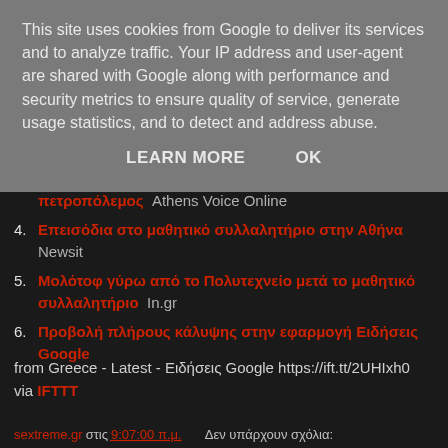This site uses cookies from Google to deliver its services and to analyze traffic. Your IP address and user-agent are shared with Google along with performance and security metrics to ensure quality of service, generate usage statistics, and to detect and address abuse.
LEARN MORE   OK
πετροπόλεμος  Athens Voice Online
4. Επεισόδια στο μαθητικό συλλαλητήριο στην Αθήνα  Newsit
5. Μολότοφ γύρω από το Πολυτεχνείο μετά το μαθητικό συλλαλητήριο  In.gr
6. Προβολή πλήρους κάλυψης στην εφαρμογή Ειδήσεις Google
from Greece - Latest - Ειδήσεις Google https://ift.tt/2UHIxh0 via IFTTT
sextreme.gr στις 9:07:00 π.μ.    Δεν υπάρχουν σχόλια: